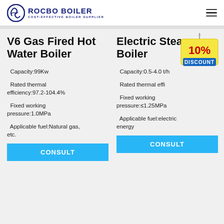ROCBO BOILER - COST-EFFECTIVE BOILER SUPPLIER
V6 Gas Fired Hot Water Boiler
Capacity:99Kw
Rated thermal efficiency:97.2-104.4%
Fixed working pressure:1.0MPa
Applicable fuel:Natural gas, etc.
Electric Steam Boiler
Capacity:0.5-4.0 t/h
Rated thermal efficiency:
Fixed working pressure:≤1.25MPa
Applicable fuel:electric energy
[Figure (illustration): 10% DISCOUNT badge/tag hanging illustration]
CONSULT
CONSULT